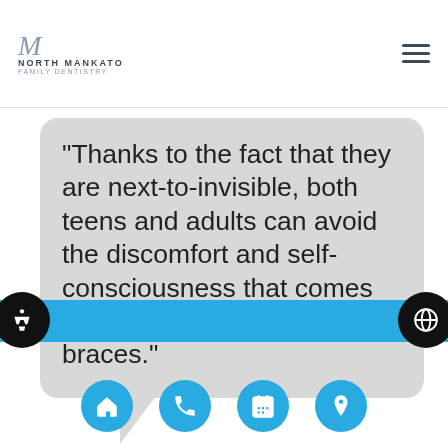North Mankato Family Dentistry
“Thanks to the fact that they are next-to-invisible, both teens and adults can avoid the discomfort and self-consciousness that comes with traditional metal braces.”
Navigation footer with accessibility, home, phone, calendar, location, and globe icons